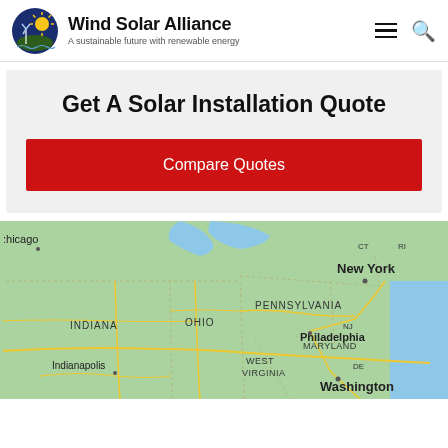Wind Solar Alliance — A sustainable future with renewable energy
Get A Solar Installation Quote
Compare Quotes
[Figure (map): Road map of northeastern United States showing states including Indiana, Ohio, Pennsylvania, West Virginia, Maryland, New York, New Jersey, Connecticut, Rhode Island, and cities including Chicago, Indianapolis, Philadelphia, Washington, New York. Major roads shown in yellow on green terrain with blue water bodies.]